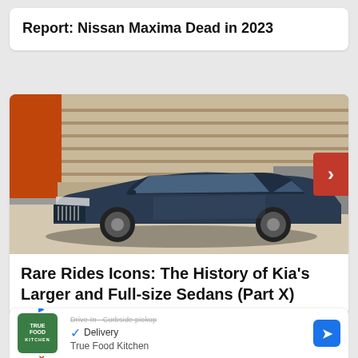Report: Nissan Maxima Dead in 2023
[Figure (photo): Blue Kia Cadenza sedan photographed from front-left angle in front of a modern building with horizontal slats and orange accent. A red navigation arrow appears on the right side.]
Rare Rides Icons: The History of Kia's Larger and Full-size Sedans (Part X)
True Food Kitchen — Delivery advertisement banner with True Food Kitchen logo, checkmark delivery option, and navigation icon.